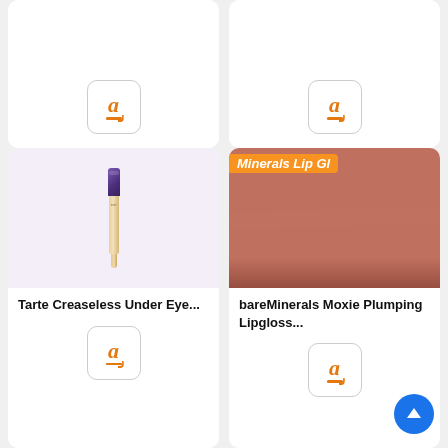[Figure (photo): Partial top-left product card with Amazon buy button, cropped at top]
[Figure (photo): Partial top-right product card with Amazon buy button, cropped at top]
[Figure (photo): Tarte Creaseless Under Eye concealer product image on lavender background]
Tarte Creaseless Under Eye...
[Figure (logo): Amazon buy button for Tarte concealer]
[Figure (photo): bareMinerals Moxie Plumping Lipgloss product image showing a close-up of the gloss with orange label 'Minerals Lip Gl']
bareMinerals Moxie Plumping Lipgloss...
[Figure (logo): Amazon buy button for bareMinerals lipgloss]